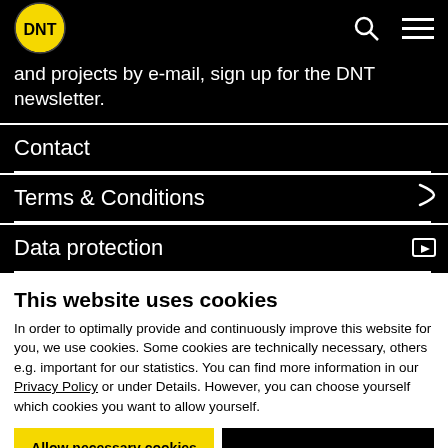[Figure (logo): DNT logo — yellow circle with black DNT text]
and projects by e-mail, sign up for the DNT newsletter.
Contact
Terms & Conditions
Data protection
This website uses cookies
In order to optimally provide and continuously improve this website for you, we use cookies. Some cookies are technically necessary, others e.g. important for our statistics. You can find more information in our Privacy Policy or under Details. However, you can choose yourself which cookies you want to allow yourself.
Allow necessary cookies only
Allow all cookies
Show details